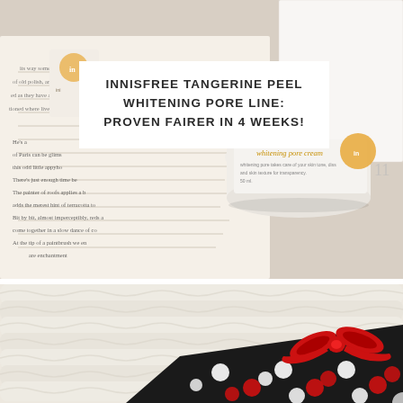[Figure (photo): Top photograph showing innisfree Tangerine Peel whitening pore cream jar placed on top of an open book with printed text, with product packaging visible; warm beige tones with tangerine/citrus imagery on packaging.]
INNISFREE TANGERINE PEEL WHITENING PORE LINE: PROVEN FAIRER IN 4 WEEKS!
[Figure (photo): Bottom photograph showing a cream-colored fluffy knitted fabric/blanket alongside a black and white polka dot fabric with a red satin bow ribbon.]